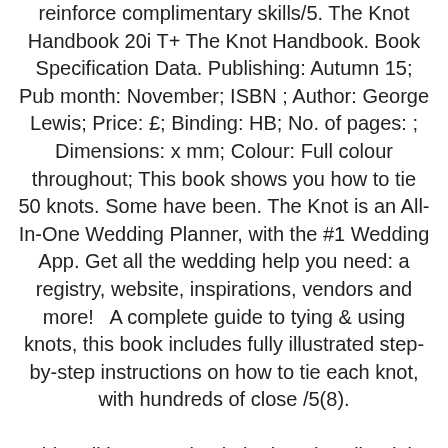reinforce complimentary skills/5. The Knot Handbook 20i T+ The Knot Handbook. Book Specification Data. Publishing: Autumn 15; Pub month: November; ISBN ; Author: George Lewis; Price: £; Binding: HB; No. of pages: ; Dimensions: x mm; Colour: Full colour throughout; This book shows you how to tie 50 knots. Some have been. The Knot is an All-In-One Wedding Planner, with the #1 Wedding App. Get all the wedding help you need: a registry, website, inspirations, vendors and more!   A complete guide to tying & using knots, this book includes fully illustrated step-by-step instructions on how to tie each knot, with hundreds of close /5(8).
noble edition paperback the knot handbook by george lewis illustrate an easy guide to the most useful knots learn to tie over 50 knots jargon and history rope not included for more than half a century the knot handbook from notable years has provided